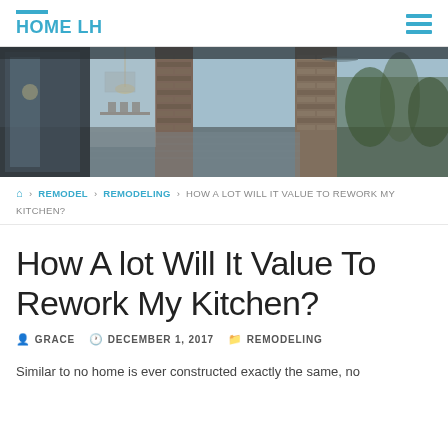HOME LH
[Figure (photo): Interior/exterior view of a modern home with brick pillars, dining area visible through glass doors, and tropical plants in background, rendered in muted blue-gray tones.]
🏠 > REMODEL > REMODELING > HOW A LOT WILL IT VALUE TO REWORK MY KITCHEN?
How A lot Will It Value To Rework My Kitchen?
GRACE  DECEMBER 1, 2017  REMODELING
Similar to no home is ever constructed exactly the same, no